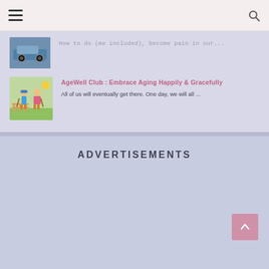[Figure (screenshot): Partially visible article with car thumbnail image and truncated text]
AgeWell Club : Embrace Aging Happily & Gracefully
All of us will eventually get there. One day, we will all ...
ADVERTISEMENTS
[Figure (other): Back to top arrow button in pink/mauve color]